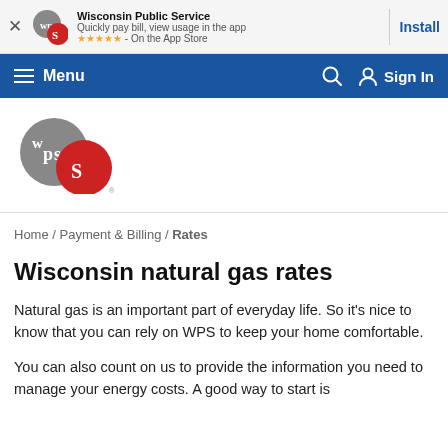[Figure (screenshot): App install banner for Wisconsin Public Service app with logo, star rating, and Install button]
[Figure (screenshot): Navigation bar with hamburger menu, Menu label, search icon, and Sign In button on blue background]
[Figure (logo): Wisconsin Public Service (WPS) logo — gray circle with WPS text and red circle with S]
Home / Payment & Billing / Rates
Wisconsin natural gas rates
Natural gas is an important part of everyday life. So it's nice to know that you can rely on WPS to keep your home comfortable.
You can also count on us to provide the information you need to manage your energy costs. A good way to start is